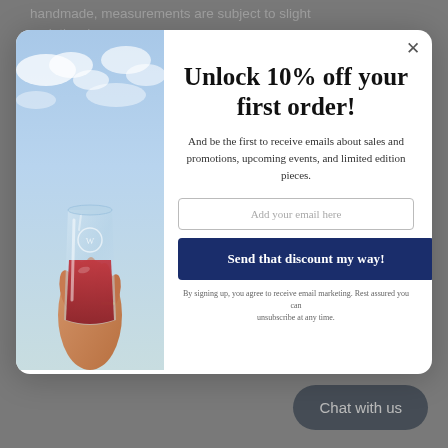handmade, measurements are subject to slight variations)
Wash & Care
[Figure (photo): A hand holding a glass tumbler with red liquid (wine/drink) against a blue sky background. The glass has an embossed logo on it.]
Unlock 10% off your first order!
And be the first to receive emails about sales and promotions, upcoming events, and limited edition pieces.
Add your email here
Send that discount my way!
By signing up, you agree to receive email marketing. Rest assured you can unsubscribe at any time.
Customer Reviews
Based on 1 review Write a review
Chat with us